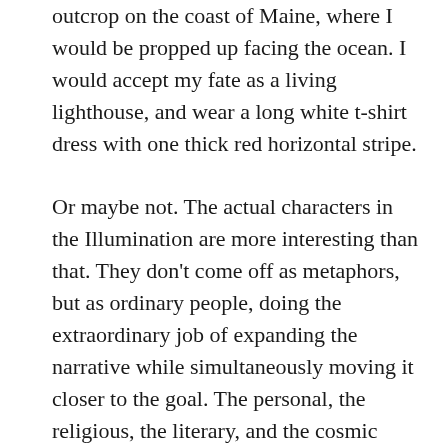outcrop on the coast of Maine, where I would be propped up facing the ocean. I would accept my fate as a living lighthouse, and wear a long white t-shirt dress with one thick red horizontal stripe.
Or maybe not. The actual characters in the Illumination are more interesting than that. They don’t come off as metaphors, but as ordinary people, doing the extraordinary job of expanding the narrative while simultaneously moving it closer to the goal. The personal, the religious, the literary, and the cosmic ramifications of The Illumination are explored from multiple points of view, all equally compelling. That’s quite a trick.
This playful narrative opens with a character that blames her pain on her ex-husband, in much the same way as I blame the crick in my neck on Kevin Brockmeier. It’s not Kevin Brockmeier’s fault that I got a crick in my neck trying to unwrap the many layers of meaning in his book, any more than it’s the ex-husband’s fault that his wife